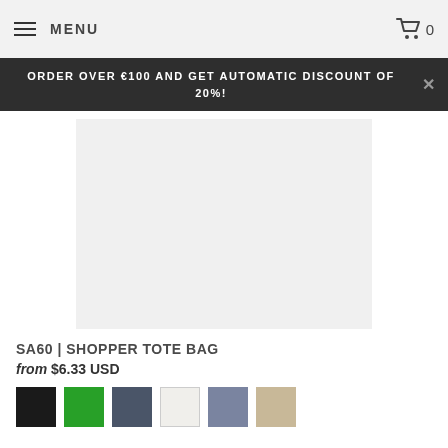MENU  🛒 0
ORDER OVER €100 AND GET AUTOMATIC DISCOUNT OF 20%!
[Figure (photo): Product image placeholder — light gray rectangle representing SA60 Shopper Tote Bag]
SA60 | SHOPPER TOTE BAG
from $6.33 USD
[Figure (other): Six color swatches: black, green, dark navy, off-white, slate blue, tan/beige]